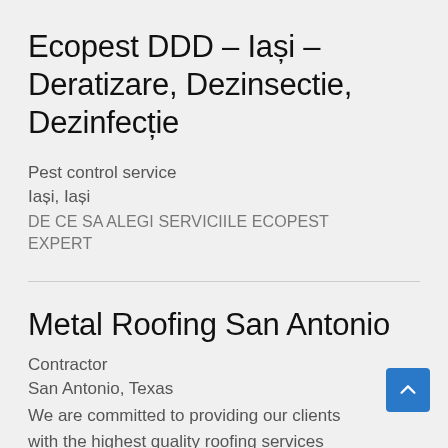Ecopest DDD – Iași – Deratizare, Dezinsectie, Dezinfecție
Pest control service
Iași, Iași
DE CE SA ALEGI SERVICIILE ECOPEST EXPERT
Metal Roofing San Antonio
Contractor
San Antonio, Texas
We are committed to providing our clients with the highest quality roofing services